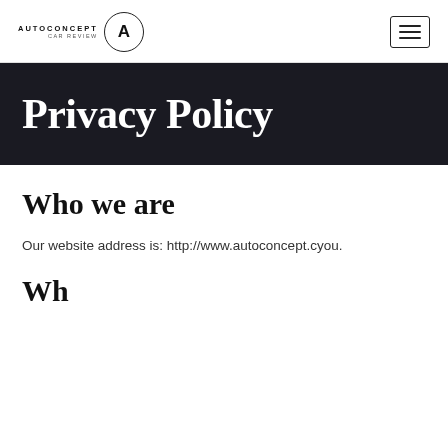AUTOCONCEPT CAR REVIEW
Privacy Policy
Who we are
Our website address is: http://www.autoconcept.cyou.
Wh...